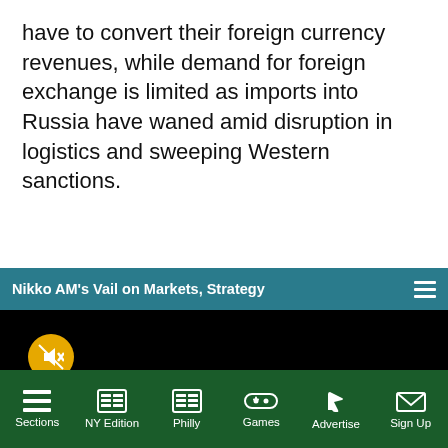have to convert their foreign currency revenues, while demand for foreign exchange is limited as imports into Russia have waned amid disruption in logistics and sweeping Western sanctions.
[Figure (screenshot): Embedded video player with teal header bar titled 'Nikko AM's Vail on Markets, Strategy', black video area with muted/unmuted icon (orange circle with crossed-out speaker) and a teal loading arc in the center bottom area.]
Sections   NY Edition   Philly   Games   Advertise   Sign Up